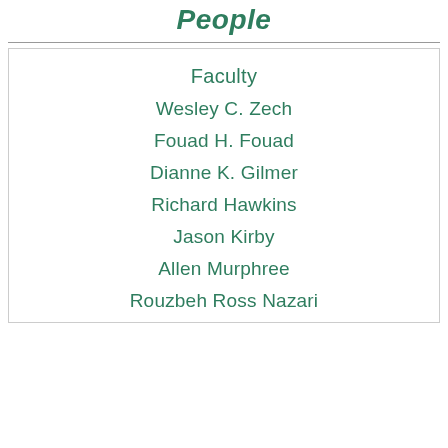People
Faculty
Wesley C. Zech
Fouad H. Fouad
Dianne K. Gilmer
Richard Hawkins
Jason Kirby
Allen Murphree
Rouzbeh Ross Nazari